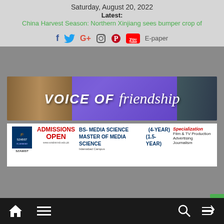Saturday, August 20, 2022
Latest:
China Harvest Season: Northern Xinjiang sees bumper crop of
[Figure (screenshot): Social media icons: Facebook, Twitter, Google+, Instagram, Pinterest, YouTube, and E-paper link]
[Figure (illustration): Voice of Friendship banner with landscape imagery and purple gradient background]
[Figure (infographic): Admissions Open banner for SZABIST showing BS Media Science (4-Year) and Master of Media Science (1.5-Year) programs with specializations in Film & TV Production, Advertising, Journalism]
[Figure (screenshot): Bottom navigation bar with home icon, menu icon, search icon, and shuffle icon on dark background]